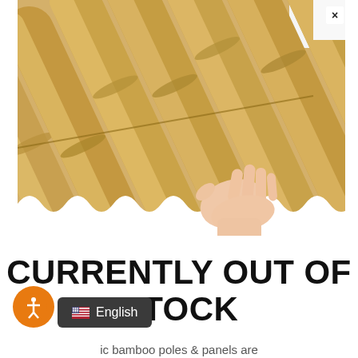[Figure (photo): Close-up photo of bamboo poles/panels bundled together, with a human hand touching/lifting one at the lower right. The bamboo is a warm golden-tan color on a white background.]
CURRENTLY OUT OF STOCK
ic bamboo poles & panels are